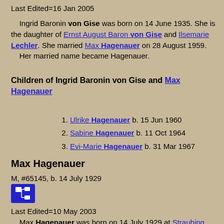Last Edited=16 Jan 2005
Ingrid Baronin von Gise was born on 14 June 1935. She is the daughter of Ernst August Baron von Gise and Ilsemarie Lechler. She married Max Hagenauer on 28 August 1959. Her married name became Hagenauer.
Children of Ingrid Baronin von Gise and Max Hagenauer
Ulrike Hagenauer b. 15 Jun 1960
Sabine Hagenauer b. 11 Oct 1964
Evi-Marie Hagenauer b. 31 Mar 1967
Max Hagenauer
M, #65145, b. 14 July 1929
[Figure (other): Blue icon button with a network/family tree symbol]
Last Edited=10 May 2003
Max Hagenauer was born on 14 July 1929 at Straubing, Germany. He married Ingrid Baronin von Gise, daughter of